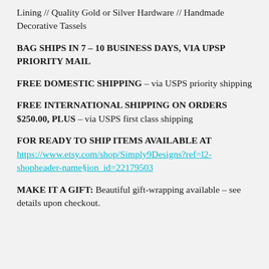Lining // Quality Gold or Silver Hardware // Handmade Decorative Tassels
BAG SHIPS IN 7 - 10 BUSINESS DAYS, VIA UPSP PRIORITY MAIL
FREE DOMESTIC SHIPPING - via USPS priority shipping
FREE INTERNATIONAL SHIPPING ON ORDERS $250.00, PLUS - via USPS first class shipping
FOR READY TO SHIP ITEMS AVAILABLE AT https://www.etsy.com/shop/Simply9Designs?ref=l2-shopheader-name§ion_id=22179503
MAKE IT A GIFT: Beautiful gift-wrapping available - see details upon checkout.